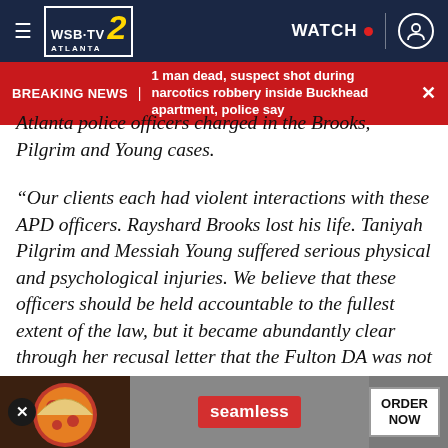WSB-TV 2 Atlanta | WATCH | User icon
BREAKING NEWS | 1 man dead, suspect shot during narcotics robbery inside Buckhead apartment, police say
Atlanta police officers charged in the Brooks, Pilgrim and Young cases.
“Our clients each had violent interactions with these APD officers. Rayshard Brooks lost his life. Taniyah Pilgrim and Messiah Young suffered serious physical and psychological injuries. We believe that these officers should be held accountable to the fullest extent of the law, but it became abundantly clear through her recusal letter that the Fulton DA was not interested in prosecuting these cases.
“While some media reported that the Fulton DA made… e